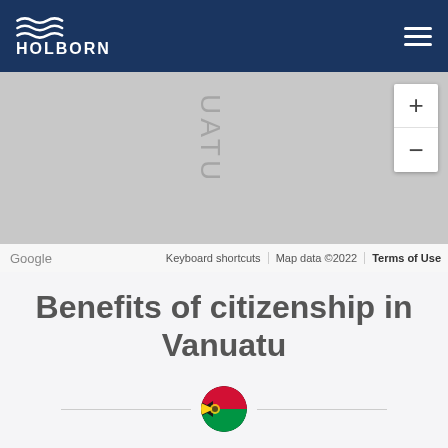[Figure (logo): Holborn logo with wave motif and HOLBORN text in white on dark navy header]
[Figure (map): Google Maps screenshot showing Vanuatu region in grey, with zoom controls (+/-) on right side, Google branding bottom-left, and map attribution bar at bottom]
Benefits of citizenship in Vanuatu
[Figure (illustration): Vanuatu flag circular icon used as decorative divider element between horizontal lines]